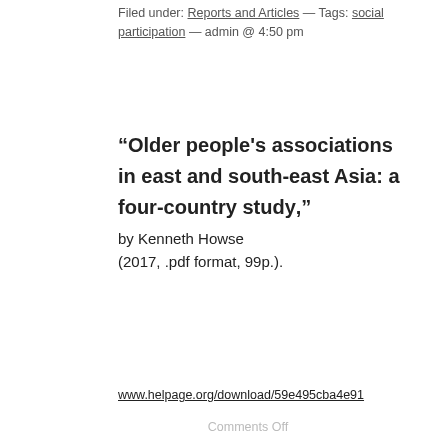Filed under: Reports and Articles — Tags: social participation — admin @ 4:50 pm
“Older people's associations in east and south-east Asia: a four-country study,” by Kenneth Howse (2017, .pdf format, 99p.).
www.helpage.org/download/59e495cba4e91
Comments Off
October 23, 2017
CAAR – HelpAge International